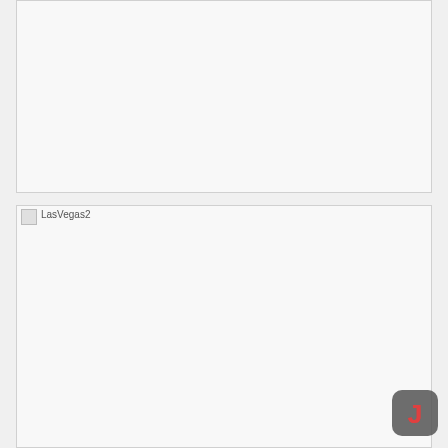[Figure (photo): First image placeholder box, empty white rectangle with border]
[Figure (photo): Second image placeholder box labeled 'LasVegas2', empty white rectangle with border]
[Figure (logo): Small circular badge icon in bottom right corner, dark gray with orange/red letter J]